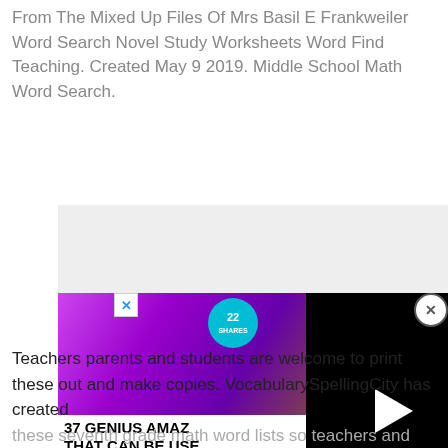From The Mixed Up Files Of Mrs Basil E Frankweiler Word Search Novel Study Worksheets Word Find Teaching. Created May 9 2019. Middle School Math Word Search.
[Figure (screenshot): Advertisement screenshot showing purple headphones image on left with text '37 GENIUS AMAZ... THAT CAN BE USE...' overlaid, a teal circle badge with '22', and a black video panel with play button on right. Close buttons visible.]
Teachers parents and students are welcome to print these out and make copies. VocabularySpellingCity has created these seventh grade math word lists so teachers and